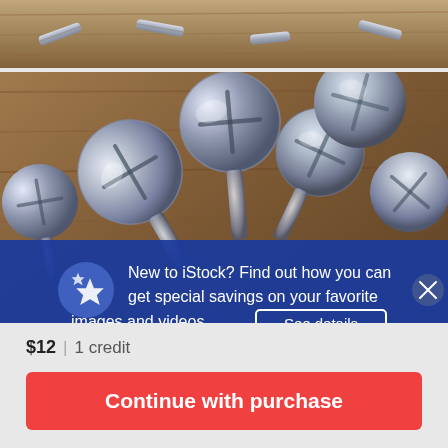[Figure (photo): Close-up photo of metallic screws on wooden surface, partially cropped at top]
[Figure (photo): Close-up photo of multiple metallic self-tapping screws with wide flat heads piled on a wooden surface, with a promotional overlay banner from iStock]
New to iStock? Find out how you can get special savings on your favorite images and videos. See details
$12 | 1 credit
Continue with purchase